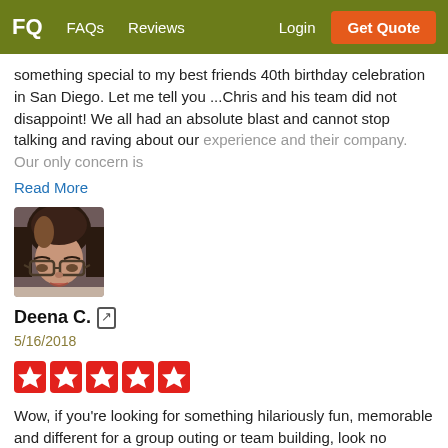FQ  FAQs  Reviews  Login  Get Quote
something special to my best friends 40th birthday celebration in San Diego. Let me tell you ...Chris and his team did not disappoint! We all had an absolute blast and cannot stop talking and raving about our experience and their company. Our only concern is
Read More
[Figure (photo): Profile photo of reviewer Deena C. — a woman with dark hair and glasses]
Deena C. [external link icon]
5/16/2018
[Figure (other): Five red star rating boxes]
Wow, if you're looking for something hilariously fun, memorable and different for a group outing or team building, look no further!!! I used FrogQuest for an all girls birthday scavenger hunt and it was nothing short of fantastic!! Chris answered all of my questions and I had a lot of them) so I knew exactly what I was getting into, but not enough so that